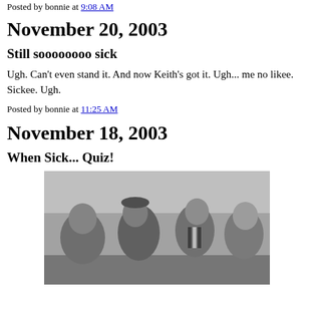Posted by bonnie at 9:08 AM
November 20, 2003
Still soooooooo sick
Ugh. Can't even stand it. And now Keith's got it. Ugh... me no likee. Sickee. Ugh.
Posted by bonnie at 11:25 AM
November 18, 2003
When Sick... Quiz!
[Figure (photo): Black and white photograph of four people outdoors, viewed from a low angle. They appear to be looking down at the camera.]